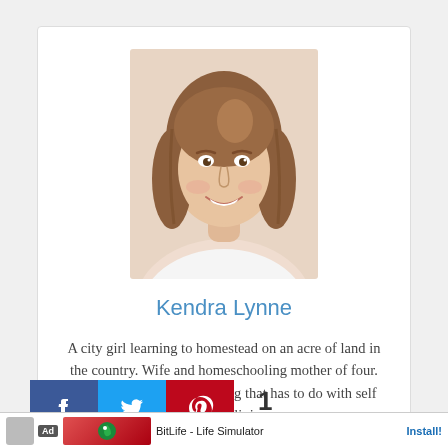[Figure (photo): Portrait photo of a smiling young woman with long brown hair against a light background]
Kendra Lynne
A city girl learning to homestead on an acre of land in the country. Wife and homeschooling mother of four. Enjoying life, and everything that has to do with self sufficient living.
[Figure (infographic): Social share buttons: Facebook, Twitter, Pinterest. Share count: 1 Share]
[Figure (screenshot): Ad banner for BitLife - Life Simulator with Install button]